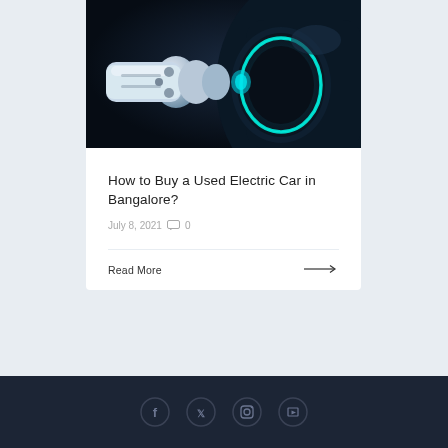[Figure (photo): Close-up photo of an electric vehicle charging port with a white EV charger plug inserted, glowing teal/cyan ring around the charging port, dark navy car body background]
How to Buy a Used Electric Car in Bangalore?
July 8, 2021  0
Read More →
Social media icons: Facebook, Twitter, Instagram, YouTube